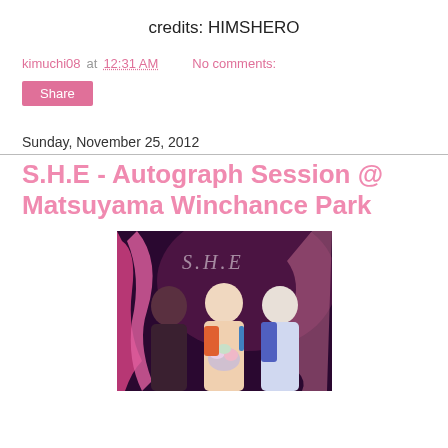credits: HIMSHERO
kimuchi08 at 12:31 AM   No comments:
Share
Sunday, November 25, 2012
S.H.E - Autograph Session @ Matsuyama Winchance Park
[Figure (photo): Three women posing together in front of a backdrop with S.H.E logo. The woman on the left wears dark clothing, the woman in the center holds a bouquet of flowers and wears a colorful outfit, and the woman on the right wears a blue and white outfit. The backdrop features pink and magenta decorative designs.]